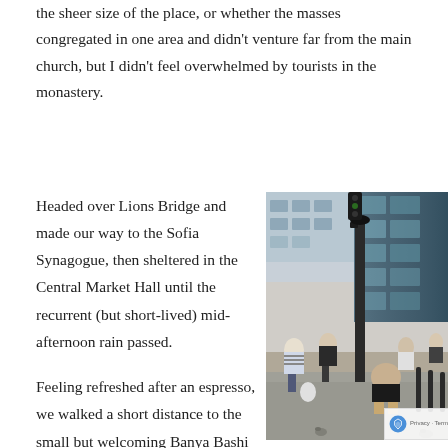the sheer size of the place, or whether the masses congregated in one area and didn't venture far from the main church, but I didn't feel overwhelmed by tourists in the monastery.
Headed over Lions Bridge and made our way to the Sofia Synagogue, then sheltered in the Central Market Hall until the recurrent (but short-lived) mid-afternoon rain passed.
[Figure (photo): Street scene photo showing people walking and sitting on a busy urban street with buildings, a lamp post, parked bicycles, and pigeons on the ground.]
Feeling refreshed after an espresso, we walked a short distance to the small but welcoming Banya Bashi Mosque, then descended